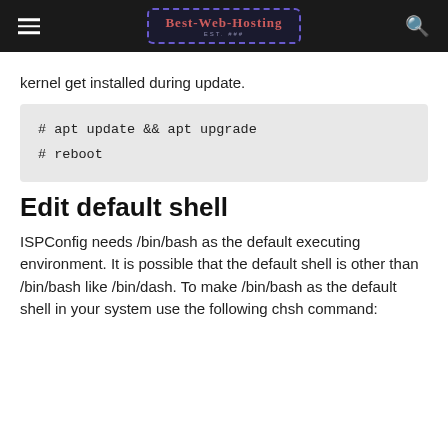Best-Web-Hosting
kernel get installed during update.
[Figure (screenshot): Code block showing: # apt update && apt upgrade
# reboot]
Edit default shell
ISPConfig needs /bin/bash as the default executing environment. It is possible that the default shell is other than /bin/bash like /bin/dash. To make /bin/bash as the default shell in your system use the following chsh command: